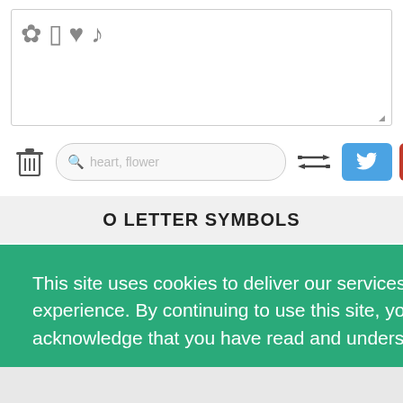[Figure (screenshot): Text input box with emoji symbols: flower, rectangle, heart, music note]
[Figure (screenshot): Toolbar with trash icon, search box with placeholder 'heart, flower', arrows button, Twitter blue button, red image button, green Copy button]
O LETTER SYMBOLS
y text editor
This site uses cookies to deliver our services and to ensure you get the best experience. By continuing to use this site, you consent to our use of cookies and acknowledge that you have read and understand our Privacy Policy, Cookie Policy, and Terms
mojis
Accept